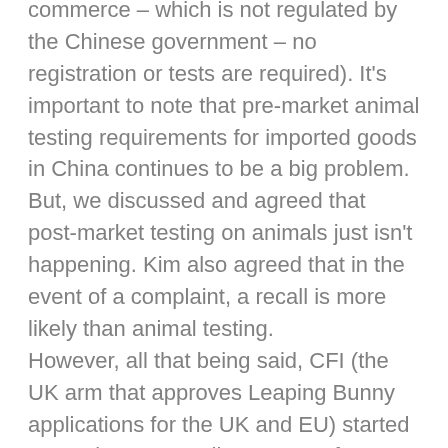commerce – which is not regulated by the Chinese government – no registration or tests are required). It's important to note that pre-market animal testing requirements for imported goods in China continues to be a big problem. But, we discussed and agreed that post-market testing on animals just isn't happening. Kim also agreed that in the event of a complaint, a recall is more likely than animal testing.
However, all that being said, CFI (the UK arm that approves Leaping Bunny applications for the UK and EU) started a Leaping Bunny pilot program for EU brands to sell in China. It includes a small handful of brands such as